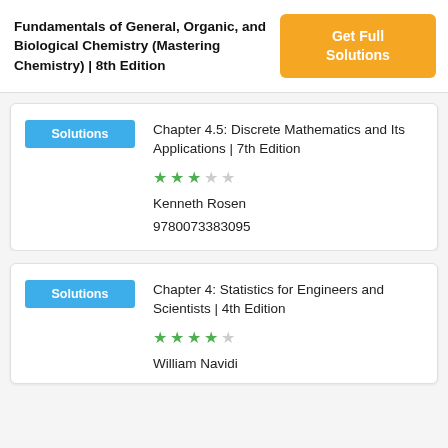Fundamentals of General, Organic, and Biological Chemistry (Mastering Chemistry) | 8th Edition
Get Full Solutions
Chapter 4.5: Discrete Mathematics and Its Applications | 7th Edition
Kenneth Rosen
9780073383095
Chapter 4: Statistics for Engineers and Scientists | 4th Edition
William Navidi